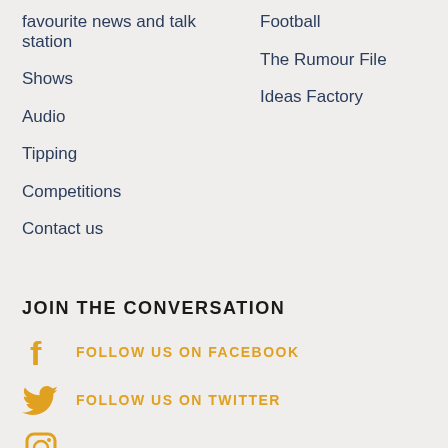favourite news and talk station
Shows
Audio
Tipping
Competitions
Contact us
Football
The Rumour File
Ideas Factory
JOIN THE CONVERSATION
FOLLOW US ON FACEBOOK
FOLLOW US ON TWITTER